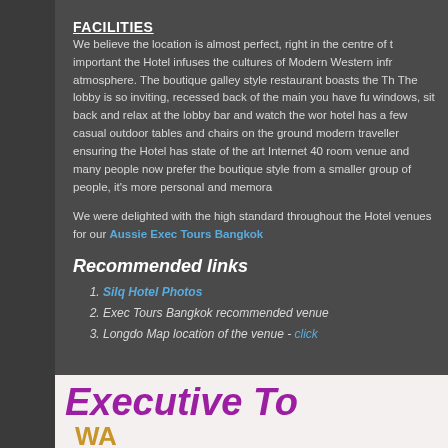FACILITIES
We believe the location is almost perfect, right in the centre of t important the Hotel infuses the cultures of Modern Western infr atmosphere. The boutique galley style restaurant boasts the Th The lobby is so inviting, recessed back of the main you have fu windows, sit back and relax at the lobby bar and watch the wor hotel has a few casual outdoor tables and chairs on the ground modern traveller ensuring the Hotel has state of the art Internet 40 room venue and many people now prefer the boutique style from a smaller group of people, it's more personal and memora
We were delighted with the high standard throughout the Hotel venues for our Aussie Exec Tours Bangkok
Recommended links
Silq Hotel Photos
Exec Tours Bangkok recommended venue
Longdo Map location of the venue - click
[Figure (illustration): Banner image with text 'Executive To' in purple italic bold font on light background, with partial text 'WA' visible in gold at bottom]